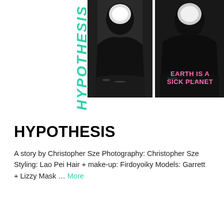[Figure (photo): Two black-and-white fashion photos side by side showing models in dark clothing with white mask/face elements. Vertical teal italic bold text reading 'HYPOTHESIS' runs along the left side. Pink bold text 'EARTH IS A SICK PLANET' overlays the right photo area.]
HYPOTHESIS
A story by Christopher Sze Photography: Christopher Sze Styling: Lao Pei Hair + make-up: Firdoyoiky Models: Garrett + Lizzy Mask … More